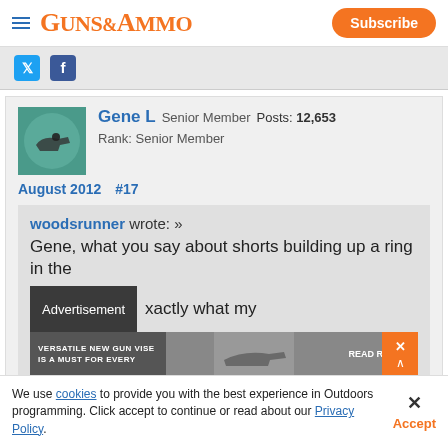GUNS&AMMO | Subscribe
[Figure (screenshot): Social media share icons - Twitter (blue bird) and Facebook (f logo)]
Gene L  Senior Member  Posts: 12,653
Rank: Senior Member
August 2012  #17
woodsrunner wrote: »
Gene, what you say about shorts building up a ring in the [barrel] is exactly what my
[Figure (screenshot): Advertisement overlay: VERSATILE NEW GUN VISE IS A MUST FOR EVERY - READ REVIEW]
We use cookies to provide you with the best experience in Outdoors programming. Click accept to continue or read about our Privacy Policy.